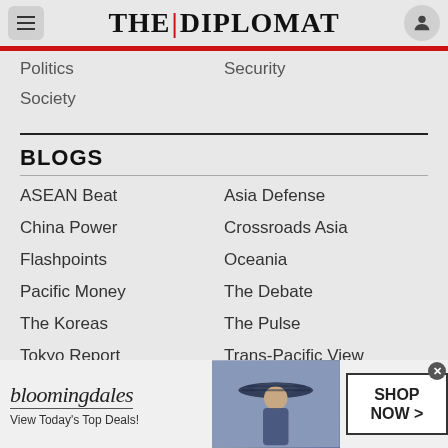THE | DIPLOMAT
Politics
Security
Society
BLOGS
ASEAN Beat
Asia Defense
China Power
Crossroads Asia
Flashpoints
Oceania
Pacific Money
The Debate
The Koreas
The Pulse
Tokyo Report
Trans-Pacific View
[Figure (infographic): Bloomingdale's advertisement banner: logo text 'bloomingdales View Today's Top Deals!' with image of woman in hat and 'SHOP NOW >' button]